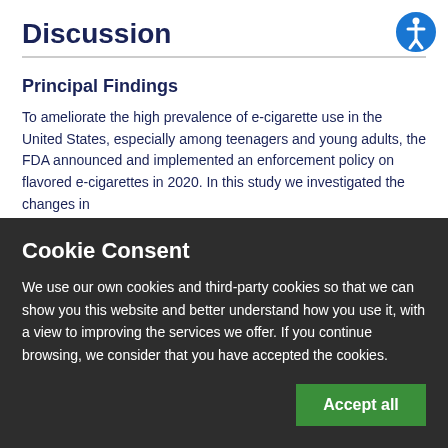Discussion
Principal Findings
To ameliorate the high prevalence of e-cigarette use in the United States, especially among teenagers and young adults, the FDA announced and implemented an enforcement policy on flavored e-cigarettes in 2020. In this study we investigated the changes in
Cookie Consent
We use our own cookies and third-party cookies so that we can show you this website and better understand how you use it, with a view to improving the services we offer. If you continue browsing, we consider that you have accepted the cookies.
Accept all